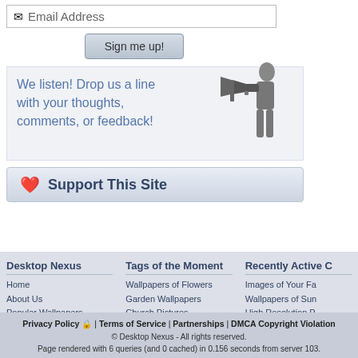[Figure (other): Email address input field with envelope icon]
[Figure (other): Sign me up! button]
We listen! Drop us a line with your thoughts, comments, or feedback!
[Figure (other): Support This Site button with heart icon]
Desktop Nexus
Home
About Us
Popular Wallpapers
Popular Tags
Community Stats
Member List
Contact Us
Tags of the Moment
Wallpapers of Flowers
Garden Wallpapers
Church Pictures
Obama Pictures
Sunset Images
Thanksgiving Wallpapers
Christmas Wallpapers
Recently Active C
Images of Your Fa
Wallpapers of Sun
High Resolution P
Pictures of Delicat
Backgrounds of B
Paint And Digital I
Backgrounds of Fa
Privacy Policy | Terms of Service | Partnerships | DMCA Copyright Violation
© Desktop Nexus - All rights reserved.
Page rendered with 6 queries (and 0 cached) in 0.156 seconds from server 103.